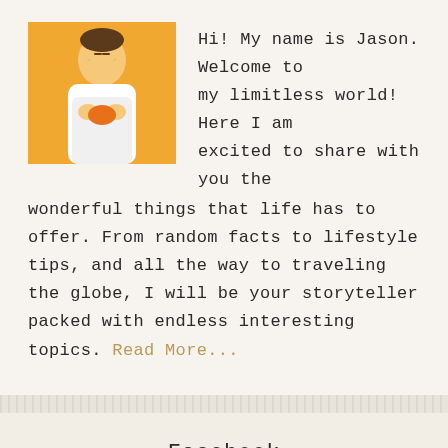[Figure (photo): Photo of a young man in a white shirt holding an orange item, against a yellow/orange background]
Hi! My name is Jason. Welcome to my limitless world! Here I am excited to share with you the wonderful things that life has to offer. From random facts to lifestyle tips, and all the way to traveling the globe, I will be your storyteller packed with endless interesting topics. Read More...
Facebook